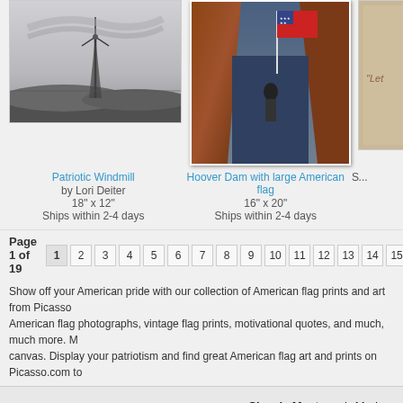[Figure (photo): Patriotic Windmill - black and white photo of windmill with American flag]
Patriotic Windmill
by Lori Deiter
18" x 12"
Ships within 2-4 days
[Figure (photo): Hoover Dam with large American flag - photo of dam with flag in rocky canyon]
Hoover Dam with large American flag
16" x 20"
Ships within 2-4 days
[Figure (photo): Partially visible third artwork]
S...
Page 1 of 19  1 2 3 4 5 6 7 8 9 10 11 12 13 14 15 >>
Show off your American pride with our collection of American flag prints and art from Picasso. American flag photographs, vintage flag prints, motivational quotes, and much, much more. M... canvas. Display your patriotism and find great American flag art and prints on Picasso.com to...
[Figure (logo): Picasso.com handwritten logo]
Classic Masters  |  Mode...
49 Stouts Lane
Monmouth Junction, NJ 08852
1-800-581-0300
Powered by Metaverse